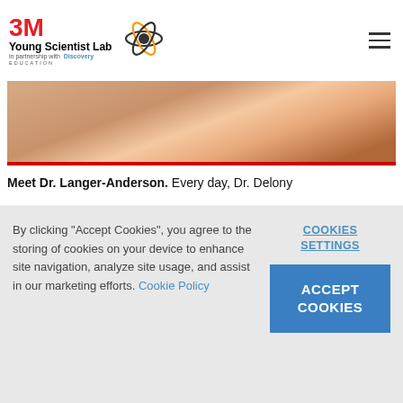3M Young Scientist Lab in partnership with Discovery Education
[Figure (photo): Close-up photo of a woman with long brown hair smiling, cropped to show from chin upward, warm brown background]
Meet Dr. Langer-Anderson. Every day, Dr. Delony
By clicking "Accept Cookies", you agree to the storing of cookies on your device to enhance site navigation, analyze site usage, and assist in our marketing efforts. Cookie Policy
COOKIES SETTINGS
ACCEPT COOKIES